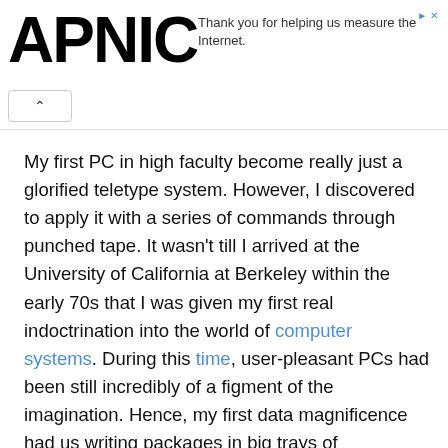APNIC — Thank you for helping us measure the Internet.
My first PC in high faculty become really just a glorified teletype system. However, I discovered to apply it with a series of commands through punched tape. It wasn't till I arrived at the University of California at Berkeley within the early 70s that I was given my first real indoctrination into the world of computer systems. During this time, user-pleasant PCs had been still incredibly of a figment of the imagination. Hence, my first data magnificence had us writing packages in big trays of consecutively ordered punch playing cards. It turned into in this elegance that I first noticed few fellow students fall right into a blubbering mass of misery if their tray turned into by chance knocked over or in any other case disrupted, which rendered their application un-runnable